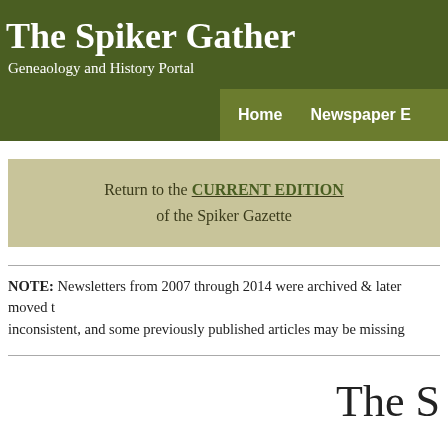The Spiker Gather
Geneaology and History Portal
Home   Newspaper E
Return to the CURRENT EDITION of the Spiker Gazette
NOTE:  Newsletters from 2007 through 2014 were archived & later moved t... inconsistent, and some previously published articles may be missing
The S